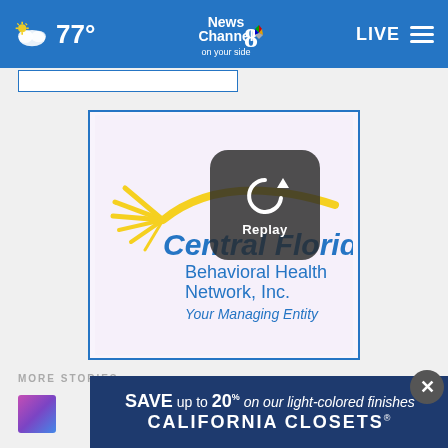77° News Channel 8 on your side LIVE
[Figure (logo): Central Florida Behavioral Health Network, Inc. Your Managing Entity logo with yellow sunburst graphic, shown with a video replay overlay button]
MORE STORIES
k by
[Figure (infographic): California Closets advertisement banner: SAVE up to 20% on our light-colored finishes CALIFORNIA CLOSETS*]